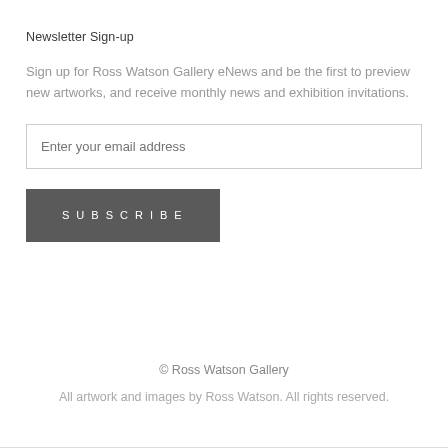Newsletter Sign-up
Sign up for Ross Watson Gallery eNews and be the first to preview new artworks, and receive monthly news and exhibition invitations.
Enter your email address
SUBSCRIBE
© Ross Watson Gallery
All artwork and images by Ross Watson. All rights reserved.